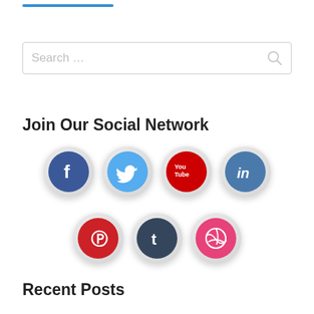[Figure (other): Social media icon buttons: Facebook, Twitter, YouTube, LinkedIn, Pinterest, Tumblr, Dribbble]
Join Our Social Network
Recent Posts